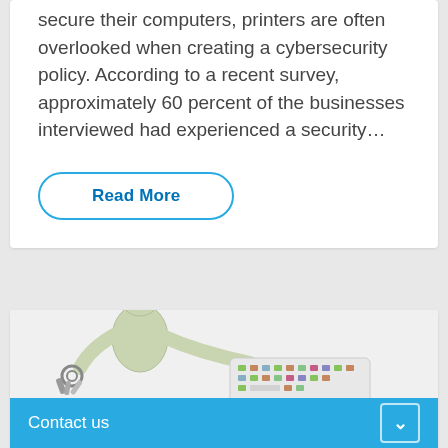secure their computers, printers are often overlooked when creating a cybersecurity policy. According to a recent survey, approximately 60 percent of the businesses interviewed had experienced a security...
Read More
[Figure (illustration): 3D rendered figure of a person holding keys, leaning over a computer keyboard, with a chat bubble overlay saying CHAT!]
Contact us